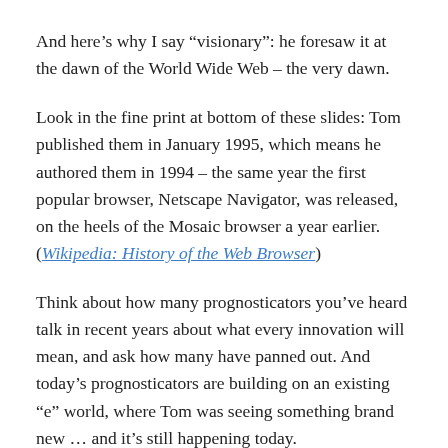And here’s why I say “visionary”: he foresaw it at the dawn of the World Wide Web – the very dawn.
Look in the fine print at bottom of these slides: Tom published them in January 1995, which means he authored them in 1994 – the same year the first popular browser, Netscape Navigator, was released, on the heels of the Mosaic browser a year earlier. (Wikipedia: History of the Web Browser)
Think about how many prognosticators you’ve heard talk in recent years about what every innovation will mean, and ask how many have panned out. And today’s prognosticators are building on an existing “e” world, where Tom was seeing something brand new … and it’s still happening today.
I wish I’d met him; I wish we had video of him. We don’t, but we can certainly do our part to remember him and …